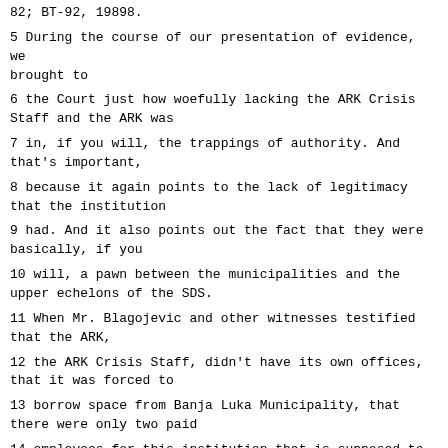82; BT-92, 19898.
5 During the course of our presentation of evidence, we brought to
6 the Court just how woefully lacking the ARK Crisis Staff and the ARK was
7 in, if you will, the trappings of authority. And that's important,
8 because it again points to the lack of legitimacy that the institution
9 had. And it also points out the fact that they were basically, if you
10 will, a pawn between the municipalities and the upper echelons of the SDS.
11 When Mr. Blagojevic and other witnesses testified that the ARK,
12 the ARK Crisis Staff, didn't have its own offices, that it was forced to
13 borrow space from Banja Luka Municipality, that there were only two paid
14 employees for this institution that is supposed to be in control of the